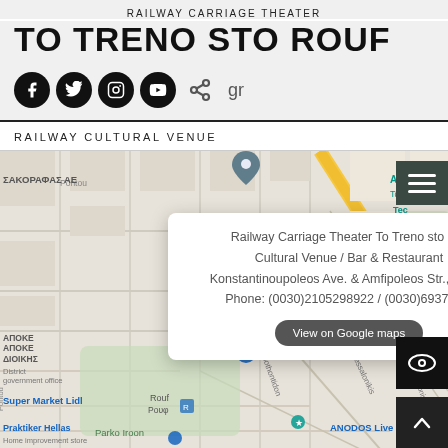RAILWAY CARRIAGE THEATER
TO TRENO STO ROUF
Social icons: Facebook, Twitter, Instagram, YouTube, Share | gr
RAILWAY CULTURAL VENUE
[Figure (map): Google Maps view showing the area around Konstantinoupoleos Ave. and Amfipoleos Str., Athens, Greece. Notable labels: ΣΑΚΟΡΑΦΑΣ ΑΕ, Archive Foundation / Ταινιοθήκη της Ελλ., Tec City / Τεχν Δημο, ΑΠΟΚΕ ΔΙΟΙΚΗΣ / District government office, Super Market Lidl, Benaki Museum Pireos 138, Rouf / Ρουφ (metro), Parko Iroon, Praktiker Hellas / Home improvement store, ANODOS Live stage, Pireos road, Dialeon, Ippothontidon, Thessalonikis, ion Ierarchon, Dionisio. A popup card shows: Railway Carriage Theater To Treno sto R... / Cultural Venue / Bar & Restaurant / Konstantinoupoleos Ave. & Amfipoleos Str., Athe... / Phone: (0030)2105298922 / (0030)693760... / View on Google maps button. Blue location pin marker visible.]